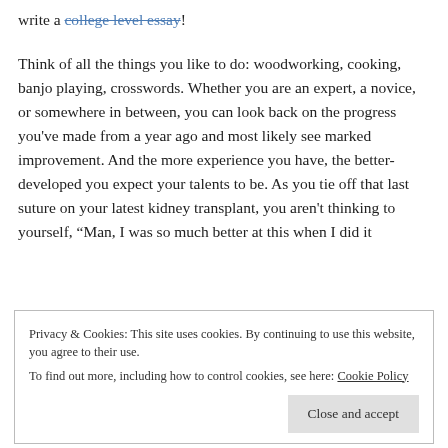write a college level essay!
Think of all the things you like to do: woodworking, cooking, banjo playing, crosswords. Whether you are an expert, a novice, or somewhere in between, you can look back on the progress you’ve made from a year ago and most likely see marked improvement. And the more experience you have, the better-developed you expect your talents to be. As you tie off that last suture on your latest kidney transplant, you aren’t thinking to yourself, “Man, I was so much better at this when I did it
Privacy & Cookies: This site uses cookies. By continuing to use this website, you agree to their use.
To find out more, including how to control cookies, see here: Cookie Policy
Close and accept